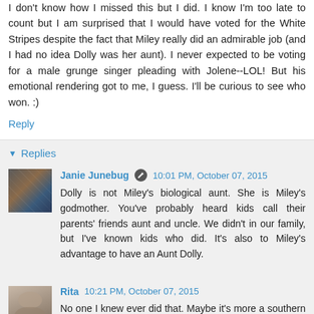I don't know how I missed this but I did. I know I'm too late to count but I am surprised that I would have voted for the White Stripes despite the fact that Miley really did an admirable job (and I had no idea Dolly was her aunt). I never expected to be voting for a male grunge singer pleading with Jolene--LOL! But his emotional rendering got to me, I guess. I'll be curious to see who won. :)
Reply
Replies
Janie Junebug  10:01 PM, October 07, 2015
Dolly is not Miley's biological aunt. She is Miley's godmother. You've probably heard kids call their parents' friends aunt and uncle. We didn't in our family, but I've known kids who did. It's also to Miley's advantage to have an Aunt Dolly.
Rita  10:21 PM, October 07, 2015
No one I knew ever did that. Maybe it's more a southern thing? But it figures Miley would try to